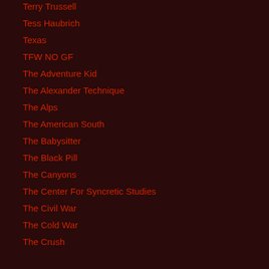Terry Trussell
Tess Haubrich
Texas
TFW NO GF
The Adventure Kid
The Alexander Technique
The Alps
The American South
The Babysitter
The Black Pill
The Canyons
The Center For Syncretic Studies
The Civil War
The Cold War
The Crush